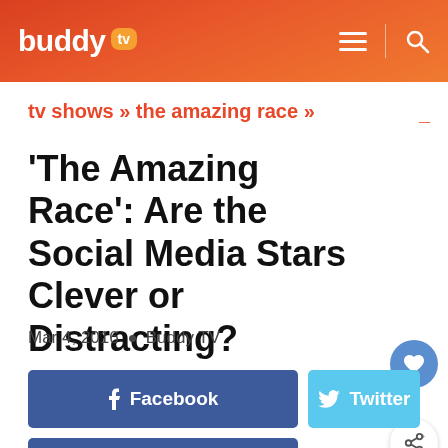buddy tv
tv shows » the amazing race »
'The Amazing Race': Are the Social Media Stars Clever or Distracting?
Mar 4, 2016  •  Buddy TV
[Figure (other): Facebook share button (dark blue)]
[Figure (other): Twitter share button (light blue)]
[Figure (other): Instagram share button (dark blue)]